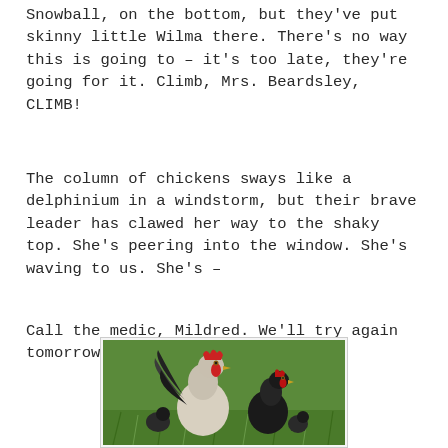Snowball, on the bottom, but they've put skinny little Wilma there. There's no way this is going to – it's too late, they're going for it. Climb, Mrs. Beardsley, CLIMB!
The column of chickens sways like a delphinium in a windstorm, but their brave leader has clawed her way to the shaky top. She's peering into the window. She's waving to us. She's –
Call the medic, Mildred. We'll try again tomorrow.
[Figure (photo): A rooster with white and black feathers and a red comb alongside black hens on green grass.]